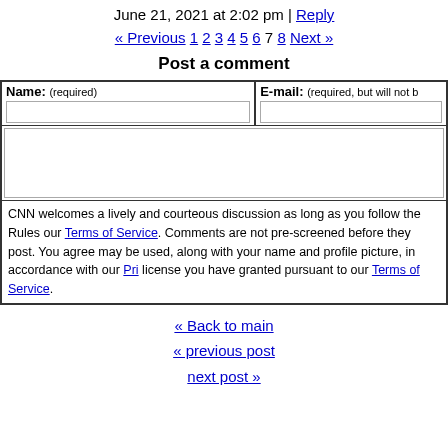June 21, 2021 at 2:02 pm | Reply
« Previous 1 2 3 4 5 6 7 8 Next »
Post a comment
| Name: (required) | E-mail: (required, but will not be published) |
| --- | --- |
|  |
CNN welcomes a lively and courteous discussion as long as you follow the Rules of our Terms of Service. Comments are not pre-screened before they post. You agree that anything you post may be used, along with your name and profile picture, in accordance with our Pri... license you have granted pursuant to our Terms of Service.
« Back to main
« previous post
next post »